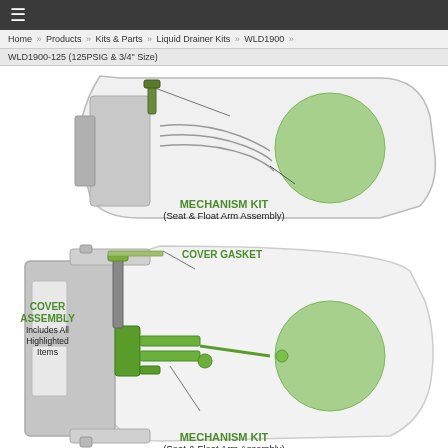≡
Home » Products » Kits & Parts » Liquid Drainer Kits » WLD1900 »
WLD1900-125 (125PSIG & 3/4" Size)
[Figure (engineering-diagram): Top partial cross-section diagram of WLD1900 liquid drainer showing mechanism kit components with seat and float arm assembly, highlighted in green]
MECHANISM KIT
(Seat & Float Arm Assembly)
[Figure (engineering-diagram): Full cross-section diagram of WLD1900 liquid drainer showing cover gasket, cover assembly (includes all highlighted items), and mechanism kit with seat and float arm assembly, all highlighted in green]
COVER GASKET
COVER ASSEMBLY
Includes All Highlighted Items
MECHANISM KIT
(Seat & Float Arm Assembly)